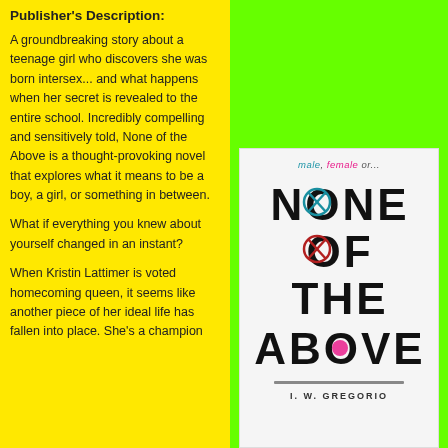Publisher's Description:
A groundbreaking story about a teenage girl who discovers she was born intersex... and what happens when her secret is revealed to the entire school. Incredibly compelling and sensitively told, None of the Above is a thought-provoking novel that explores what it means to be a boy, a girl, or something in between.
What if everything you knew about yourself changed in an instant?
When Kristin Lattimer is voted homecoming queen, it seems like another piece of her ideal life has fallen into place. She's a champion
[Figure (illustration): Book cover of 'None of the Above' by I. W. Gregorio on a bright green background. The cover shows the title in large bold black text with crosshair/target symbols replacing the O in NONE and OF. A small pink circle appears in ABOVE. Subtitle reads 'male, female, or...' at top. Author name I. W. GREGORIO at bottom.]